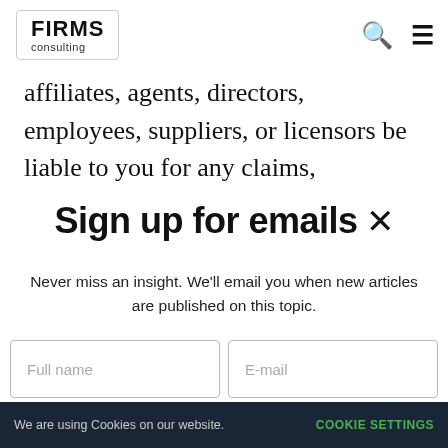[Figure (logo): FIRMS consulting logo in a rounded rectangle border]
affiliates, agents, directors, employees, suppliers, or licensors be liable to you for any claims,
Sign up for emails
Never miss an insight. We'll email you when new articles are published on this topic.
Full name
E-mail
Subscribe
We are using Cookies on our website.   COOKIE SETTINGS